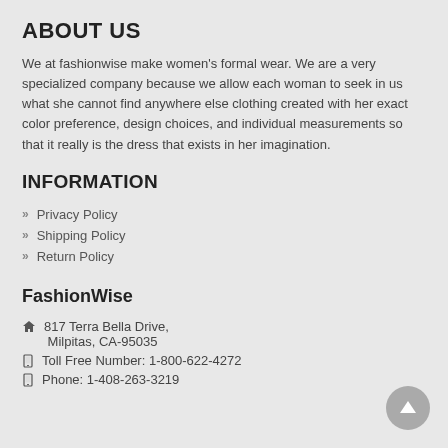ABOUT US
We at fashionwise make women's formal wear. We are a very specialized company because we allow each woman to seek in us what she cannot find anywhere else clothing created with her exact color preference, design choices, and individual measurements so that it really is the dress that exists in her imagination.
INFORMATION
» Privacy Policy
» Shipping Policy
» Return Policy
FashionWise
817 Terra Bella Drive, Milpitas, CA-95035
Toll Free Number: 1-800-622-4272
Phone: 1-408-263-3219